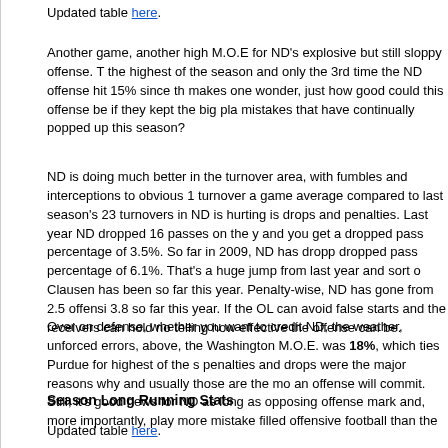Updated table here.
Another game, another high M.O.E for ND's explosive but still sloppy offense. This was the highest of the season and only the 3rd time the ND offense hit 15% since the start. It makes one wonder, just how good could this offense be if they kept the big plays and cut the mistakes that have continually popped up this season?
ND is doing much better in the turnover area, with fumbles and interceptions totaling an obvious 1 turnover a game average compared to last season's 23 turnovers in ... Where ND is hurting is drops and penalties. Last year ND dropped 16 passes on the year ... and you get a dropped pass percentage of 3.5%. So far in 2009, ND has dropped ... dropped pass percentage of 6.1%. That's a huge jump from last year and sort of explains why Clausen has been so far this year. Penalty-wise, ND has gone from 2.5 offensive penalties to 3.8 so far this year. If the OL can avoid false starts and the receivers can hold on, there's no telling how effective the offense can be.
Over on defense, whether you want to credit ND, the weather, unforced errors, ... above, the Washington M.O.E. was 18%, which ties Purdue for highest of the season. The penalties and drops were the major reasons why and usually those are the most volatile mistakes an offense will commit. Still, it's good news for ND as long as opposing offenses hit that mark and, more importantly, play more mistake filled offensive football than the...
Season Long Running Stats
Updated table here.